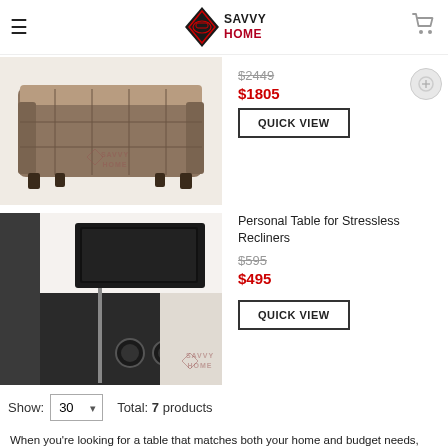Savvy Home
[Figure (photo): Brown leather ottoman with tufted square top and dark wooden legs]
$2449 $1805
QUICK VIEW
[Figure (photo): Personal laptop/swivel table attached to a recliner chair arm with cup holder accessories]
Personal Table for Stressless Recliners $595 $495
QUICK VIEW
Show: 30  Total: 7 products
When you're looking for a table that matches both your home and budget needs, look no further than Savvy Home Store's selection of end tables on sale. We have plenty of choices that will give you the perfect bookend to whatever furniture you're looking to complement from a beautiful sectional sofa or your favorite recliner. We even offer options that can attach to your existing furniture for space and convenience. Looking for the right piece for the center of your room? We also offer coffee tables on sale to give you the